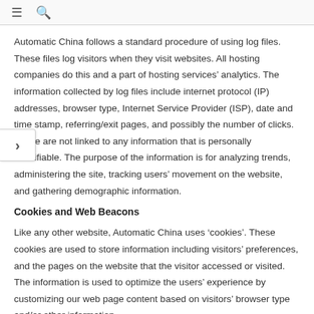≡ 🔍
Automatic China follows a standard procedure of using log files. These files log visitors when they visit websites. All hosting companies do this and a part of hosting services' analytics. The information collected by log files include internet protocol (IP) addresses, browser type, Internet Service Provider (ISP), date and time stamp, referring/exit pages, and possibly the number of clicks. These are not linked to any information that is personally identifiable. The purpose of the information is for analyzing trends, administering the site, tracking users' movement on the website, and gathering demographic information.
Cookies and Web Beacons
Like any other website, Automatic China uses 'cookies'. These cookies are used to store information including visitors' preferences, and the pages on the website that the visitor accessed or visited. The information is used to optimize the users' experience by customizing our web page content based on visitors' browser type and/or other information.